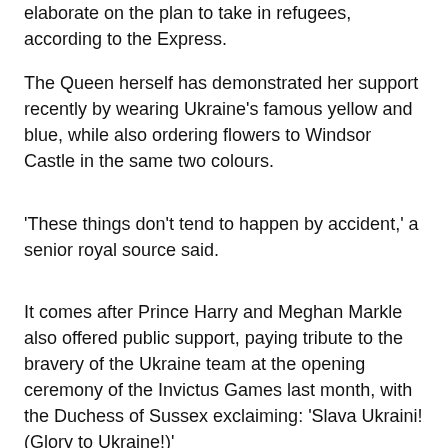elaborate on the plan to take in refugees, according to the Express.
The Queen herself has demonstrated her support recently by wearing Ukraine's famous yellow and blue, while also ordering flowers to Windsor Castle in the same two colours.
'These things don't tend to happen by accident,' a senior royal source said.
It comes after Prince Harry and Meghan Markle also offered public support, paying tribute to the bravery of the Ukraine team at the opening ceremony of the Invictus Games last month, with the Duchess of Sussex exclaiming: 'Slava Ukraini! (Glory to Ukraine!)'
The Duke said he hoped the games would create the opportunity for the world to 'better show up' for the country of Ukraine.